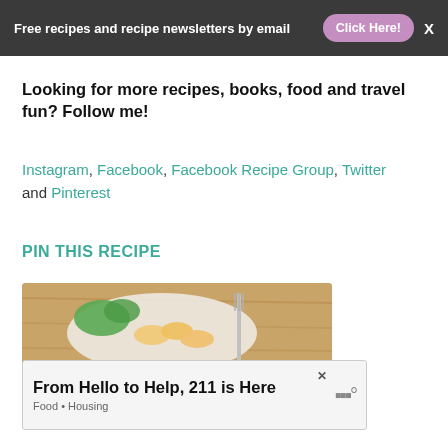Free recipes and recipe newsletters by email  Click Here!
Looking for more recipes, books, food and travel fun? Follow me!
Instagram, Facebook, Facebook Recipe Group, Twitter and Pinterest
PIN THIS RECIPE
[Figure (photo): A food photo showing dumplings or wontons with greens and a fork on a wooden surface]
From Hello to Help, 211 is Here
Food • Housing